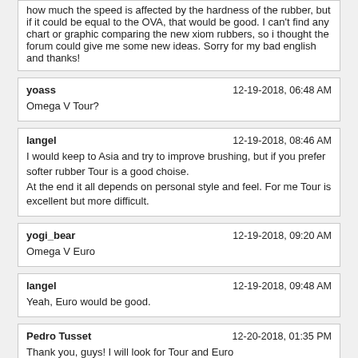how much the speed is affected by the hardness of the rubber, but if it could be equal to the OVA, that would be good. I can't find any chart or graphic comparing the new xiom rubbers, so i thought the forum could give me some new ideas. Sorry for my bad english and thanks!
yoass | 12-19-2018, 06:48 AM
Omega V Tour?
langel | 12-19-2018, 08:46 AM
I would keep to Asia and try to improve brushing, but if you prefer softer rubber Tour is a good choise.
At the end it all depends on personal style and feel. For me Tour is excellent but more difficult.
yogi_bear | 12-19-2018, 09:20 AM
Omega V Euro
langel | 12-19-2018, 09:48 AM
Yeah, Euro would be good.
Pedro Tusset | 12-20-2018, 01:35 PM
Thank you, guys! I will look for Tour and Euro
Powered by vBulletin® Version 4.2.5 Copyright © 2022 vBulletin Solutions Inc. All rights reserved.